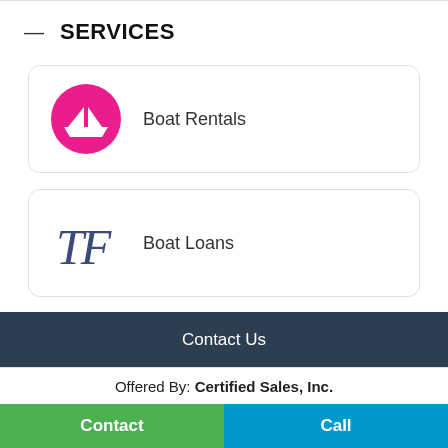— SERVICES
Boat Rentals
Boat Loans
Contact Us
Offered By: Certified Sales, Inc.
Contact
Call